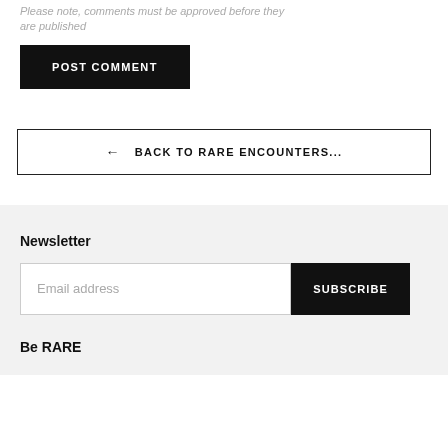Please note, comments must be approved before they are published
POST COMMENT
← BACK TO RARE ENCOUNTERS...
Newsletter
Email address
SUBSCRIBE
Be RARE